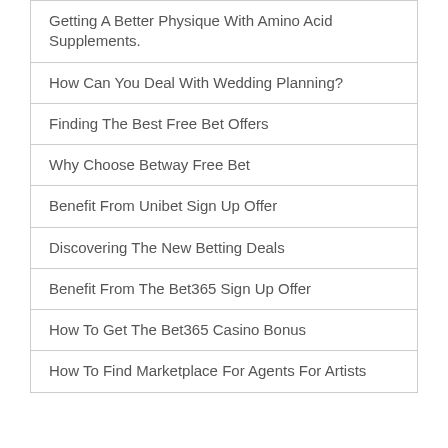Getting A Better Physique With Amino Acid Supplements.
How Can You Deal With Wedding Planning?
Finding The Best Free Bet Offers
Why Choose Betway Free Bet
Benefit From Unibet Sign Up Offer
Discovering The New Betting Deals
Benefit From The Bet365 Sign Up Offer
How To Get The Bet365 Casino Bonus
How To Find Marketplace For Agents For Artists